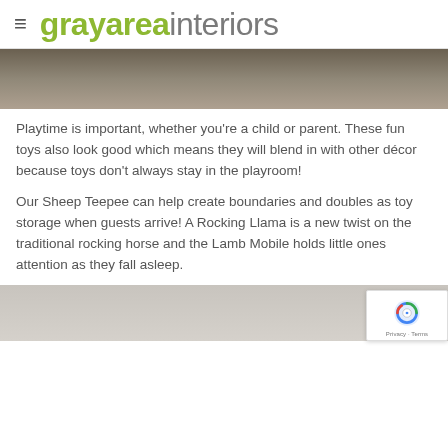grayareainteriors
[Figure (photo): Top portion of an image showing a gray concrete or stone floor/surface]
Playtime is important, whether you're a child or parent. These fun toys also look good which means they will blend in with other décor because toys don't always stay in the playroom!
Our Sheep Teepee can help create boundaries and doubles as toy storage when guests arrive! A Rocking Llama is a new twist on the traditional rocking horse and the Lamb Mobile holds little ones attention as they fall asleep.
[Figure (photo): Bottom portion showing a light gray background with what appears to be a toy or nursery item]